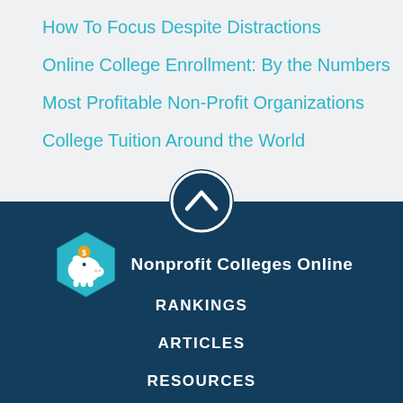How To Focus Despite Distractions
Online College Enrollment: By the Numbers
Most Profitable Non-Profit Organizations
College Tuition Around the World
[Figure (logo): Up arrow button circle icon]
[Figure (logo): Nonprofit Colleges Online logo — hexagonal icon with piggy bank and orange coin, white text]
RANKINGS
ARTICLES
RESOURCES